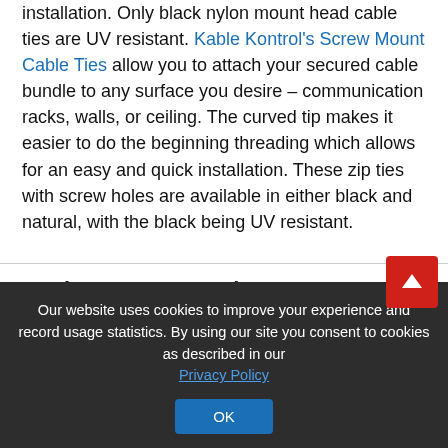installation. Only black nylon mount head cable ties are UV resistant. Kable Kontrol's Screw Mount Cable Ties allow you to attach your secured cable bundle to any surface you desire – communication racks, walls, or ceiling. The curved tip makes it easier to do the beginning threading which allows for an easy and quick installation. These zip ties with screw holes are available in either black and natural, with the black being UV resistant.
+ Prices & Accessories
Our website uses cookies to improve your experience and record usage statistics. By using our site you consent to cookies as described in our Privacy Policy